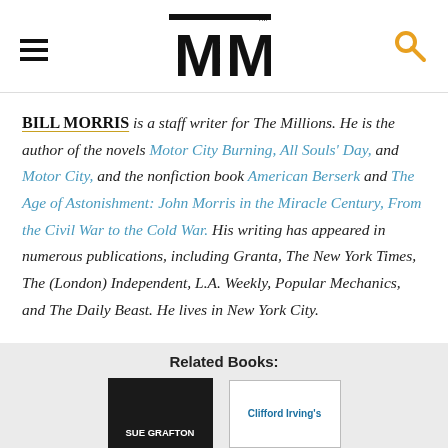MM (The Millions) logo with hamburger menu and search icon
BILL MORRIS is a staff writer for The Millions. He is the author of the novels Motor City Burning, All Souls' Day, and Motor City, and the nonfiction book American Berserk and The Age of Astonishment: John Morris in the Miracle Century, From the Civil War to the Cold War. His writing has appeared in numerous publications, including Granta, The New York Times, The (London) Independent, L.A. Weekly, Popular Mechanics, and The Daily Beast. He lives in New York City.
Related Books:
[Figure (photo): Book cover: Sue Grafton (dark background)]
[Figure (photo): Book cover: Clifford Irving's (white background with blue text)]